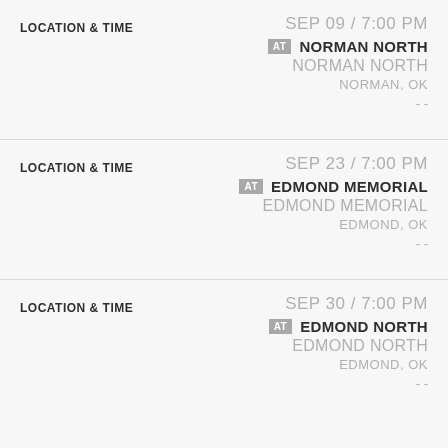LOCATION & TIME
SEP 09 / 7:00 PM
AT NORMAN NORTH
NORMAN NORTH
NORMAN, OK
- -
LOCATION & TIME
SEP 23 / 7:00 PM
AT EDMOND MEMORIAL
EDMOND MEMORIAL
EDMOND, OK
- -
LOCATION & TIME
SEP 30 / 7:00 PM
AT EDMOND NORTH
EDMOND NORTH
EDMOND, OK
- -